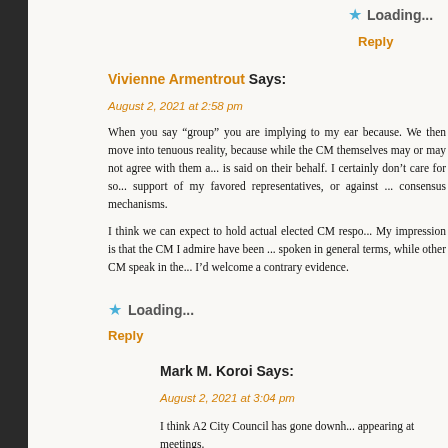Loading...
Reply
Vivienne Armentrout Says:
August 2, 2021 at 2:58 pm
When you say “group” you are implying to my ear be... We then move into tenuous reality, because while the... the CM themselves may or may not agree with them a... is said on their behalf. I certainly don’t care for so... support of my favored representatives, or against ... consensus mechanisms.
I think we can expect to hold actual elected CM respo... My impression is that the CM I admire have been ... spoken in general terms, while other CM speak in the... I’d welcome a contrary evidence.
Loading...
Reply
Mark M. Koroi Says:
August 2, 2021 at 3:04 pm
I think A2 City Council has gone downh... appearing at meetings.